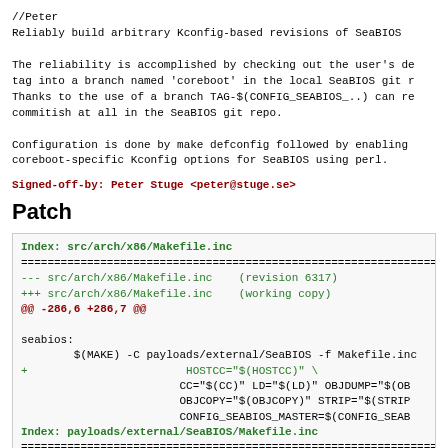//Peter
Reliably build arbitrary Kconfig-based revisions of SeaBIOS

The reliability is accomplished by checking out the user's de
tag into a branch named 'coreboot' in the local SeaBIOS git r
Thanks to the use of a branch TAG-$(CONFIG_SEABIOS_..) can re
commitish at all in the SeaBIOS git repo.

Configuration is done by make defconfig followed by enabling
coreboot-specific Kconfig options for SeaBIOS using perl.
Signed-off-by: Peter Stuge <peter@stuge.se>
Patch
Index: src/arch/x86/Makefile.inc
===================================================================
--- src/arch/x86/Makefile.inc    (revision 6317)
+++ src/arch/x86/Makefile.inc    (working copy)
@@ -286,6 +286,7 @@

seabios:
        $(MAKE) -C payloads/external/SeaBIOS -f Makefile.inc
+                        HOSTCC="$(HOSTCC)" \
                        CC="$(CC)" LD="$(LD)" OBJDUMP="$(OB
                        OBJCOPY="$(OBJCOPY)" STRIP="$(STRIP
                        CONFIG_SEABIOS_MASTER=$(CONFIG_SEABE
Index: payloads/external/SeaBIOS/Makefile.inc
===================================================================